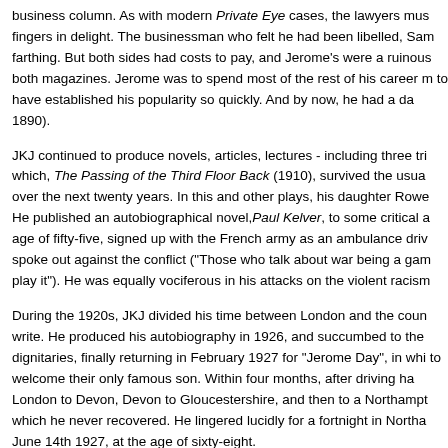business column. As with modern Private Eye cases, the lawyers must have rubbed their fingers in delight. The businessman who felt he had been libelled, Samuel Austin, did not get a farthing. But both sides had costs to pay, and Jerome's were a ruinous blow, and he had to sell both magazines. Jerome was to spend most of the rest of his career managing debt, but he had to have established his popularity so quickly. And by now, he had a daughter, Rowena (born 1890).
JKJ continued to produce novels, articles, lectures - including three trips to America - of which, The Passing of the Third Floor Back (1910), survived the usual test of adaptability over the next twenty years. In this and other plays, his daughter Rowena appeared as actress. He published an autobiographical novel, Paul Kelver, to some critical acclaim. At the age of fifty-five, signed up with the French army as an ambulance driver in World War I, but spoke out against the conflict ("Those who talk about war being a game should be made to play it"). He was equally vociferous in his attacks on the violent racism he encountered.
During the 1920s, JKJ divided his time between London and the countryside, continuing to write. He produced his autobiography in 1926, and succumbed to the blandishments of local dignitaries, finally returning in February 1927 for "Jerome Day", in which Walsall welcomed him to welcome their only famous son. Within four months, after driving hard trips from London to Devon, Devon to Gloucestershire, and then to a Northampton, he had a stroke from which he never recovered. He lingered lucidly for a fortnight in Northampton, and died June 14th 1927, at the age of sixty-eight.
Long before his death, JKJ had purchased a burial plot in Ewelme...